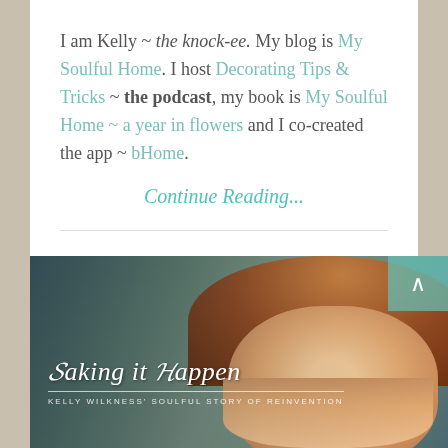I am Kelly ~ the knock-ee. My blog is My Soulful Home. I host Decorating Tips & Tricks ~ the podcast, my book is My Soulful Home ~ a year in flowers and I co-created the app ~ bHome.
Continue Reading...
[Figure (photo): Photo of a smiling woman with auburn/brown hair, with text overlay reading 'Making it Happen' and subtitle 'Kelly Wilkness' Soulful Story of Reinvention']